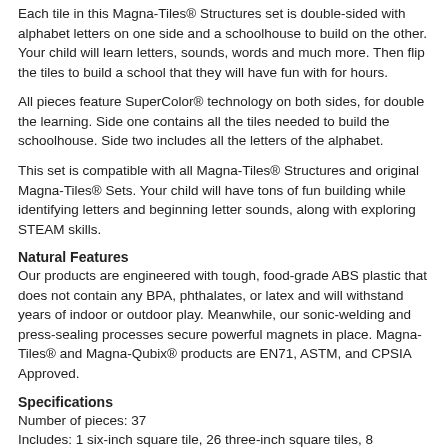Each tile in this Magna-Tiles® Structures set is double-sided with alphabet letters on one side and a schoolhouse to build on the other. Your child will learn letters, sounds, words and much more. Then flip the tiles to build a school that they will have fun with for hours.
All pieces feature SuperColor® technology on both sides, for double the learning. Side one contains all the tiles needed to build the schoolhouse. Side two includes all the letters of the alphabet.
This set is compatible with all Magna-Tiles® Structures and original Magna-Tiles® Sets. Your child will have tons of fun building while identifying letters and beginning letter sounds, along with exploring STEAM skills.
Natural Features
Our products are engineered with tough, food-grade ABS plastic that does not contain any BPA, phthalates, or latex and will withstand years of indoor or outdoor play. Meanwhile, our sonic-welding and press-sealing processes secure powerful magnets in place. Magna-Tiles® and Magna-Qubix® products are EN71, ASTM, and CPSIA Approved.
Specifications
Number of pieces: 37
Includes: 1 six-inch square tile, 26 three-inch square tiles, 8 equilateral triangle tiles, and 2 door tiles
Product dimensions: each shape has a base measurement of 7.62 cm